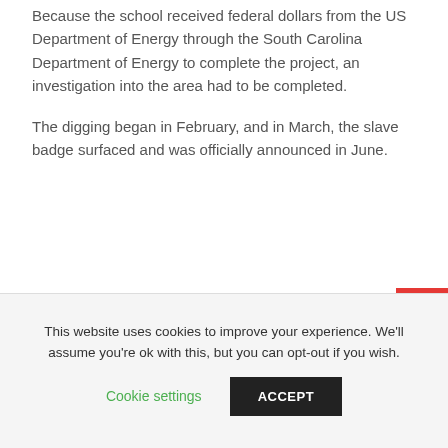Because the school received federal dollars from the US Department of Energy through the South Carolina Department of Energy to complete the project, an investigation into the area had to be completed.
The digging began in February, and in March, the slave badge surfaced and was officially announced in June.
This website uses cookies to improve your experience. We'll assume you're ok with this, but you can opt-out if you wish.